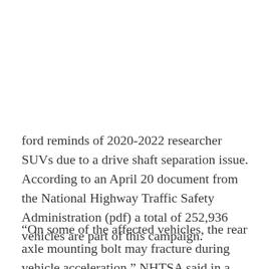ford reminds of 2020-2022 researcher SUVs due to a drive shaft separation issue. According to an April 20 document from the National Highway Traffic Safety Administration (pdf) a total of 252,936 vehicles are part of this campaign.
“On some of the affected vehicles, the rear axle mounting bolt may fracture during vehicle acceleration.” NHTSA said in a